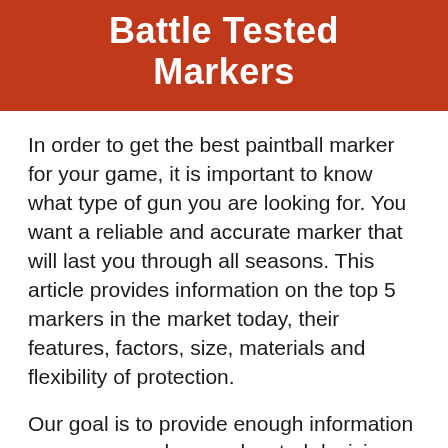Battle Tested Markers
In order to get the best paintball marker for your game, it is important to know what type of gun you are looking for. You want a reliable and accurate marker that will last you through all seasons. This article provides information on the top 5 markers in the market today, their features, factors, size, materials and flexibility of protection.
Our goal is to provide enough information so you can make an educated decision when purchasing your next Mechanical Gun!But if you don't know the facts regarding buying paintball guns, this buying guide will help...